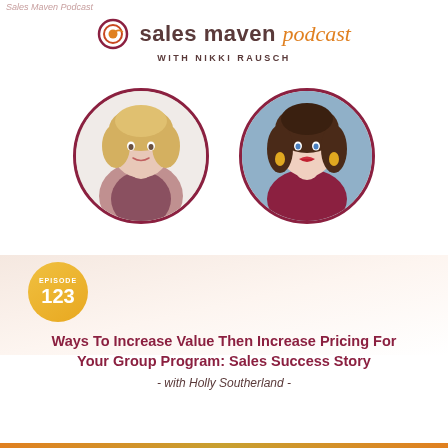sales maven podcast with Nikki Rausch
[Figure (logo): Sales Maven Podcast logo with spiral icon, text reading 'sales maven podcast with NIKKI RAUSCH']
[Figure (photo): Two circular headshot photos: left - blonde woman in pink top, right - brunette woman with red lips and yellow earrings]
Ways To Increase Value Then Increase Pricing For Your Group Program: Sales Success Story
- with Holly Southerland -